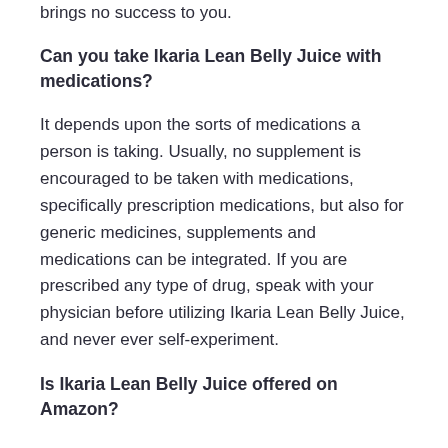brings no success to you.
Can you take Ikaria Lean Belly Juice with medications?
It depends upon the sorts of medications a person is taking. Usually, no supplement is encouraged to be taken with medications, specifically prescription medications, but also for generic medicines, supplements and medications can be integrated. If you are prescribed any type of drug, speak with your physician before utilizing Ikaria Lean Belly Juice, and never ever self-experiment.
Is Ikaria Lean Belly Juice offered on Amazon?